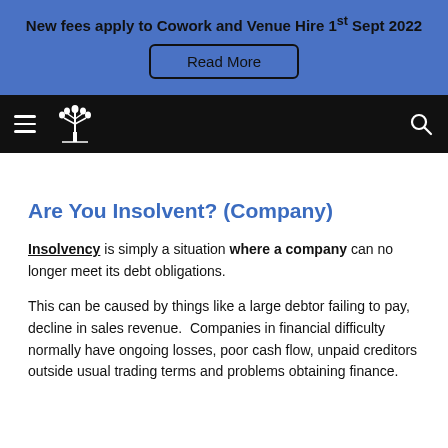New fees apply to Cowork and Venue Hire 1st Sept 2022
Read More
[Figure (logo): Navigation bar with hamburger menu, white tree/plant logo, and search icon on black background]
Are You Insolvent? (Company)
Insolvency is simply a situation where a company can no longer meet its debt obligations.
This can be caused by things like a large debtor failing to pay, decline in sales revenue. Companies in financial difficulty normally have ongoing losses, poor cash flow, unpaid creditors outside usual trading terms and problems obtaining finance.